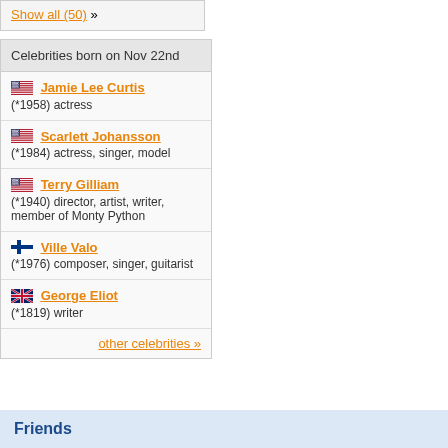Show all (50) »
Celebrities born on Nov 22nd
Jamie Lee Curtis (*1958) actress
Scarlett Johansson (*1984) actress, singer, model
Terry Gilliam (*1940) director, artist, writer, member of Monty Python
Ville Valo (*1976) composer, singer, guitarist
George Eliot (*1819) writer
other celebrities »
Friends